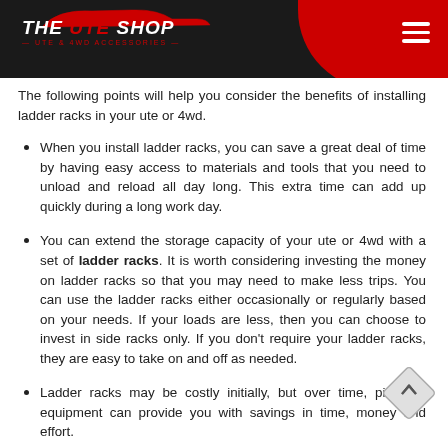The Ute Shop - UTE & 4WD ACCESSORIES
The following points will help you consider the benefits of installing ladder racks in your ute or 4wd.
When you install ladder racks, you can save a great deal of time by having easy access to materials and tools that you need to unload and reload all day long. This extra time can add up quickly during a long work day.
You can extend the storage capacity of your ute or 4wd with a set of ladder racks. It is worth considering investing the money on ladder racks so that you may need to make less trips. You can use the ladder racks either occasionally or regularly based on your needs. If your loads are less, then you can choose to invest in side racks only. If you don't require your ladder racks, they are easy to take on and off as needed.
Ladder racks may be costly initially, but over time, piece of equipment can provide you with savings in time, money and effort.